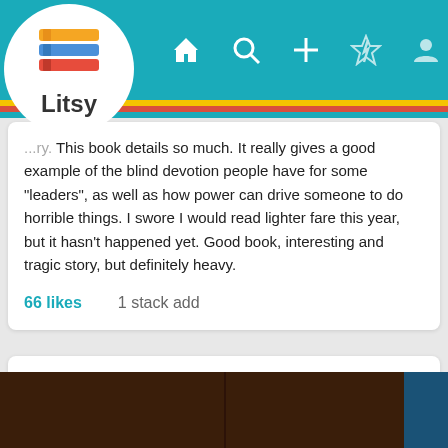[Figure (screenshot): Litsy app logo with stacked colorful books icon and 'Litsy' text in a white circle]
[Figure (infographic): Litsy app navigation bar with home, search, add, flash, and profile icons on teal background]
...ry. This book details so much. It really gives a good example of the blind devotion people have for some "leaders", as well as how power can drive someone to do horrible things. I swore I would read lighter fare this year, but it hasn't happened yet. Good book, interesting and tragic story, but definitely heavy.
66 likes    1 stack add
goodbyefrancie
The Road to Jonestown: Jim Jones and Peoples Temple | Jeff Guinn
[Figure (photo): Dark brown book cover image at the bottom of the page]